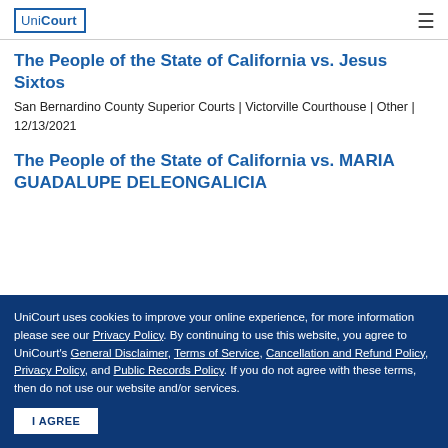UniCourt
The People of the State of California vs. Jesus Sixtos
San Bernardino County Superior Courts | Victorville Courthouse | Other | 12/13/2021
The People of the State of California vs. MARIA GUADALUPE DELEONGALICIA
UniCourt uses cookies to improve your online experience, for more information please see our Privacy Policy. By continuing to use this website, you agree to UniCourt's General Disclaimer, Terms of Service, Cancellation and Refund Policy, Privacy Policy, and Public Records Policy. If you do not agree with these terms, then do not use our website and/or services.
I AGREE